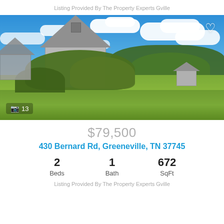Listing Provided By The Property Experts Gville
[Figure (photo): Exterior photo of a rural property with an old weathered barn surrounded by overgrown shrubs and tall grass, blue sky with white clouds, and a small shed visible in the background field.]
$79,500
430 Bernard Rd, Greeneville, TN 37745
2 Beds  1 Bath  672 SqFt
Listing Provided By The Property Experts Gville